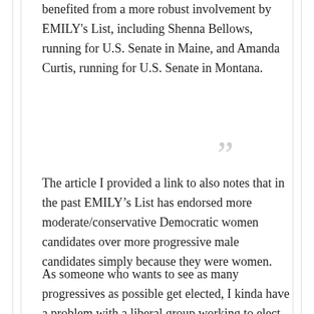benefited from a more robust involvement by EMILY's List, including Shenna Bellows, running for U.S. Senate in Maine, and Amanda Curtis, running for U.S. Senate in Montana.
The article I provided a link to also notes that in the past EMILY’s List has endorsed more moderate/conservative Democratic women candidates over more progressive male candidates simply because they were women.
As someone who wants to see as many progressives as possible get elected, I kinda have a problem with a liberal group working to elect moderate or